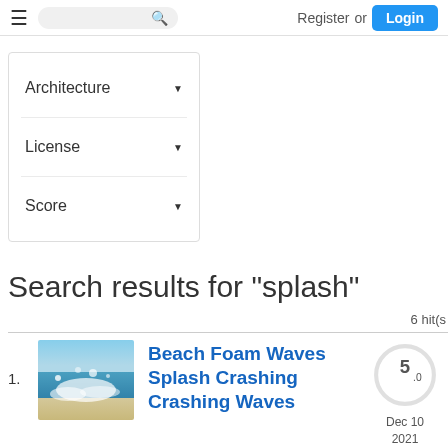Register or Login
Architecture
License
Score
Search results for "splash"
6 hit(s)
[Figure (photo): Beach foam waves crashing - thumbnail image showing ocean waves splashing on a beach with blue sky]
Beach Foam Waves Splash Crashing Crashing Waves
5.0
Dec 10 2021